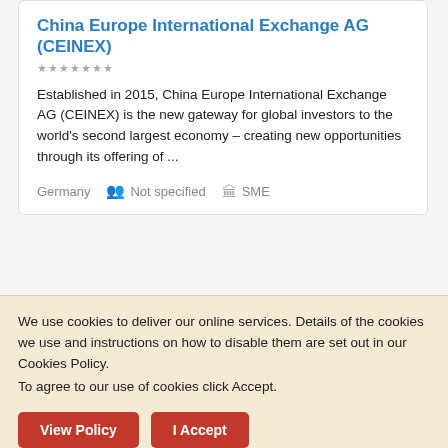China Europe International Exchange AG (CEINEX)
★★★★★★★
Established in 2015, China Europe International Exchange AG (CEINEX) is the new gateway for global investors to the world's second largest economy – creating new opportunities through its offering of ...
Germany   Not specified   SME
Southwest China > Legal Services
We use cookies to deliver our online services. Details of the cookies we use and instructions on how to disable them are set out in our Cookies Policy.
To agree to our use of cookies click Accept.
View Policy
I Accept